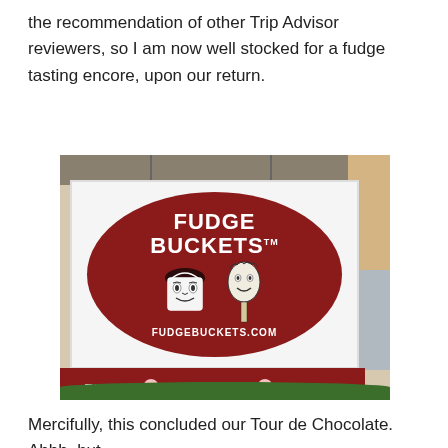the recommendation of other Trip Advisor reviewers, so I am now well stocked for a fudge tasting encore, upon our return.
[Figure (photo): Photo of a Fudge Buckets store sign. Main white sign with dark red oval logo showing 'FUDGE BUCKETS TM' text, illustrated faces of a bucket character and spoon character, and 'FUDGEBUCKETS.COM'. Below is a red banner reading 'FUDGE ICE CREAM COFFEE' with ice cream cone icons.]
Mercifully, this concluded our Tour de Chocolate. Ahhh, but